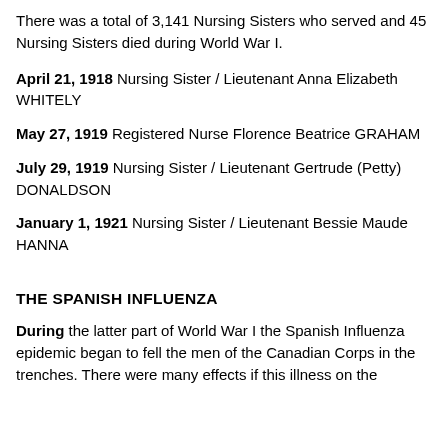There was a total of 3,141 Nursing Sisters who served and 45 Nursing Sisters died during World War I.
April 21, 1918 Nursing Sister / Lieutenant Anna Elizabeth WHITELY
May 27, 1919 Registered Nurse Florence Beatrice GRAHAM
July 29, 1919 Nursing Sister / Lieutenant Gertrude (Petty) DONALDSON
January 1, 1921 Nursing Sister / Lieutenant Bessie Maude HANNA
THE SPANISH INFLUENZA
During the latter part of World War I the Spanish Influenza epidemic began to fell the men of the Canadian Corps in the trenches. There were many effects if this illness on the